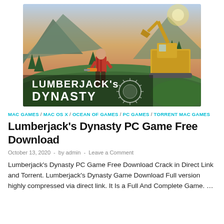[Figure (illustration): Lumberjack's Dynasty game cover art showing a lumberjack man in a red plaid shirt holding a chainsaw, standing before a mountain lake landscape with a yellow logging machine/excavator on the right. White text overlay reads 'LUMBERJACK's DYNASTY' with a circular saw blade logo.]
MAC GAMES / MAC OS X / OCEAN OF GAMES / PC GAMES / TORRENT MAC GAMES
Lumberjack's Dynasty PC Game Free Download
October 13, 2020  -  by admin  -  Leave a Comment
Lumberjack's Dynasty PC Game Free Download Crack in Direct Link and Torrent. Lumberjack's Dynasty Game Download Full version highly compressed via direct link. It Is a Full And Complete Game. ...